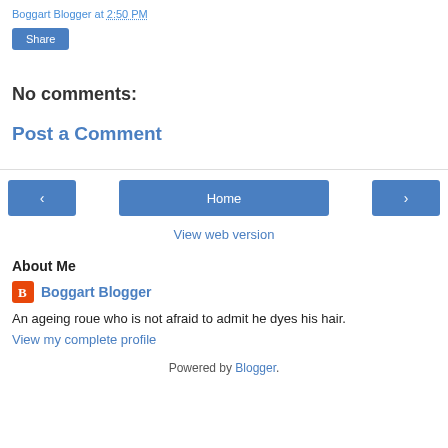Boggart Blogger at 2:50 PM
Share
No comments:
Post a Comment
< Home >
View web version
About Me
Boggart Blogger
An ageing roue who is not afraid to admit he dyes his hair.
View my complete profile
Powered by Blogger.